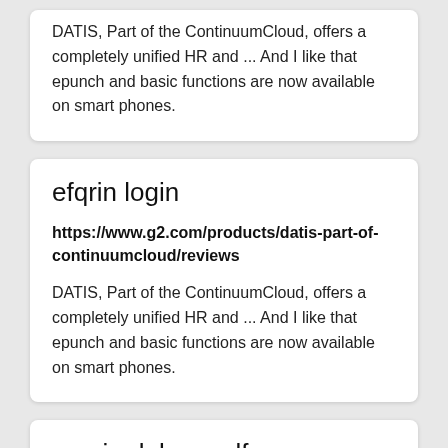DATIS, Part of the ContinuumCloud, offers a completely unified HR and ... And I like that epunch and basic functions are now available on smart phones.
efqrin login
https://www.g2.com/products/datis-part-of-continuumcloud/reviews
DATIS, Part of the ContinuumCloud, offers a completely unified HR and ... And I like that epunch and basic functions are now available on smart phones.
empire lakes golf course closed login
https://www.g2.com/products/datis-part-of-continuumcloud/reviews